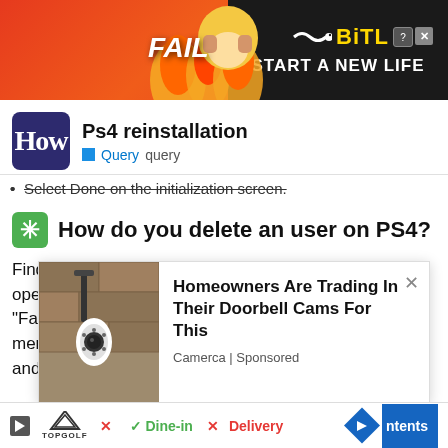[Figure (screenshot): Advertisement banner for BitLife game — red flame background with 'FAIL' text, cartoon character, and 'START A NEW LIFE' tagline]
[Figure (logo): How.co logo — white H on dark navy/purple rounded rectangle background]
Ps4 reinstallation
Query  query
Select Done on the initialization screen.
How do you delete an user on PS4?
Find "Settings" in the PS4 main menu and press X to open the menu. In the "Settings" section, look for "Factory Reset", it's somewhere at the bottom of the menu. In "Restore factory settings" find "delete user" and enter. Select the user you want
[Figure (screenshot): Pop-up advertisement showing a security camera on a wall with text: Homeowners Are Trading In Their Doorbell Cams For This — Camerca | Sponsored]
[Figure (screenshot): Bottom navigation bar with TopGolf ad showing Dine-in and Delivery options, navigation arrow, and Contents button]